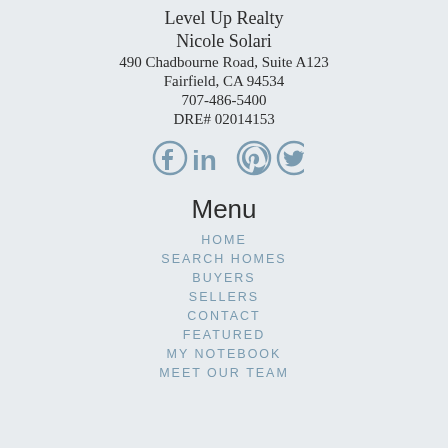Level Up Realty
Nicole Solari
490 Chadbourne Road, Suite A123
Fairfield, CA 94534
707-486-5400
DRE# 02014153
[Figure (illustration): Social media icons: Facebook, LinkedIn, Pinterest, Twitter in steel blue color]
Menu
HOME
SEARCH HOMES
BUYERS
SELLERS
CONTACT
FEATURED
MY NOTEBOOK
MEET OUR TEAM